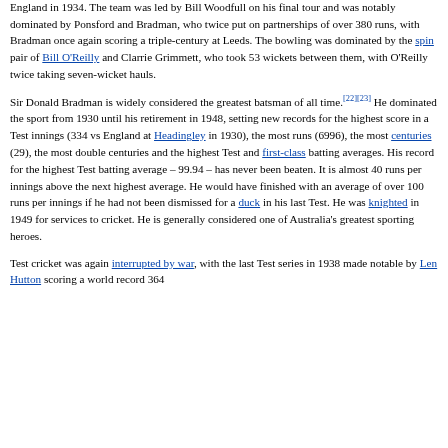The Australian team put the result of this series behind them, winning their next tour of England in 1934. The team was led by Bill Woodfull on his final tour and was notably dominated by Ponsford and Bradman, who twice put on partnerships of over 380 runs, with Bradman once again scoring a triple-century at Leeds. The bowling was dominated by the spin pair of Bill O'Reilly and Clarrie Grimmett, who took 53 wickets between them, with O'Reilly twice taking seven-wicket hauls.
Sir Donald Bradman is widely considered the greatest batsman of all time.[22][23] He dominated the sport from 1930 until his retirement in 1948, setting new records for the highest score in a Test innings (334 vs England at Headingley in 1930), the most runs (6996), the most centuries (29), the most double centuries and the highest Test and first-class batting averages. His record for the highest Test batting average – 99.94 – has never been beaten. It is almost 40 runs per innings above the next highest average. He would have finished with an average of over 100 runs per innings if he had not been dismissed for a duck in his last Test. He was knighted in 1949 for services to cricket. He is generally considered one of Australia's greatest sporting heroes.
Test cricket was again interrupted by war, with the last Test series in 1938 made notable by Len Hutton scoring a world record 364